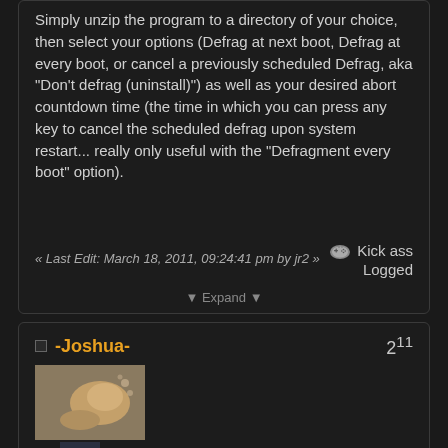Simply unzip the program to a directory of your choice, then select your options (Defrag at next boot, Defrag at every boot, or cancel a previously scheduled Defrag, aka "Don't defrag (uninstall)") as well as your desired abort countdown time (the time in which you can press any key to cancel the scheduled defrag upon system restart... really only useful with the "Defragment every boot" option).
« Last Edit: March 18, 2011, 09:24:41 pm by jr2 »
Kick ass
Logged
▼ Expand ▼
-Joshua-
2^11
Re: FS2 loading slow? Getting nasty lags during gameplay?